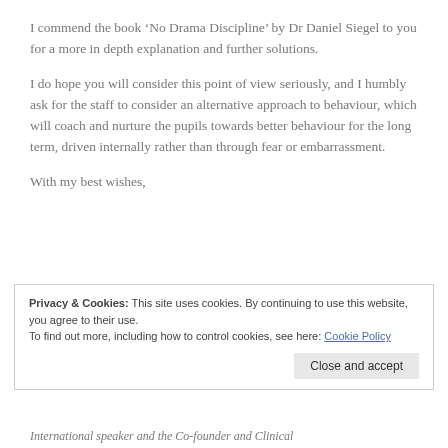I commend the book ‘No Drama Discipline’ by Dr Daniel Siegel to you for a more in depth explanation and further solutions.
I do hope you will consider this point of view seriously, and I humbly ask for the staff to consider an alternative approach to behaviour, which will coach and nurture the pupils towards better behaviour for the long term, driven internally rather than through fear or embarrassment.
With my best wishes,
Privacy & Cookies: This site uses cookies. By continuing to use this website, you agree to their use.
To find out more, including how to control cookies, see here: Cookie Policy
International speaker and the Co-founder and Clinical